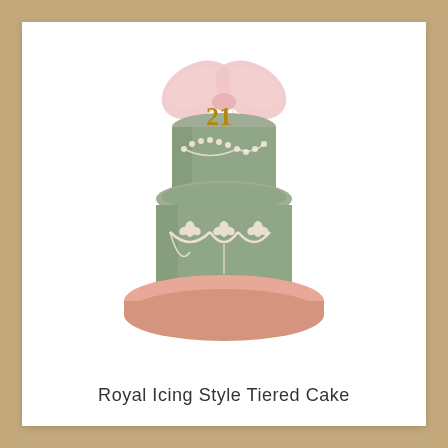[Figure (photo): A two-tiered royal icing style celebration cake with sage green fondant. The top tier is smaller and cylindrical, decorated with draped pearl bead garlands and topped with a golden '21' numeral and a large pink ribbon bow. The bottom tier is larger with white royal icing swags, fleur-de-lis style piping, and pearl bead borders. The cake sits on a pink round drum board.]
Royal Icing Style Tiered Cake